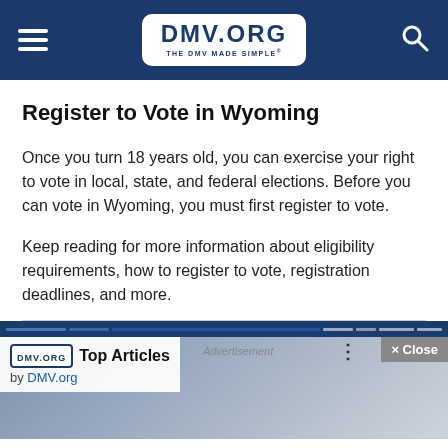DMV.ORG — THE DMV MADE SIMPLE
Register to Vote in Wyoming
Once you turn 18 years old, you can exercise your right to vote in local, state, and federal elections. Before you can vote in Wyoming, you must first register to vote.
Keep reading for more information about eligibility requirements, how to register to vote, registration deadlines, and more.
[Figure (screenshot): Advertisement overlay showing 'Top Articles by DMV.org' with a close button and blurred background photo of two men.]